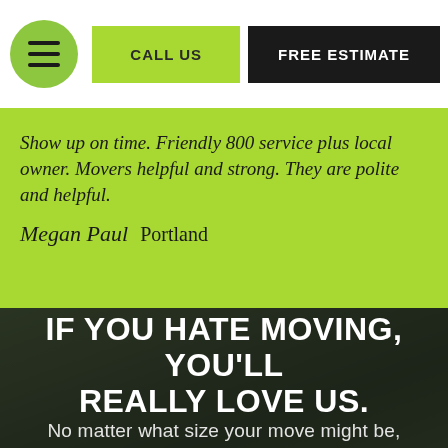≡  CALL US   FREE ESTIMATE
Show up on time. Friendly 800 service plus local owner. Movers helpful and strong. They are polite and helpful.
Megan Paul  Portland
IF YOU HATE MOVING, YOU'LL REALLY LOVE US.
No matter what size your move might be,